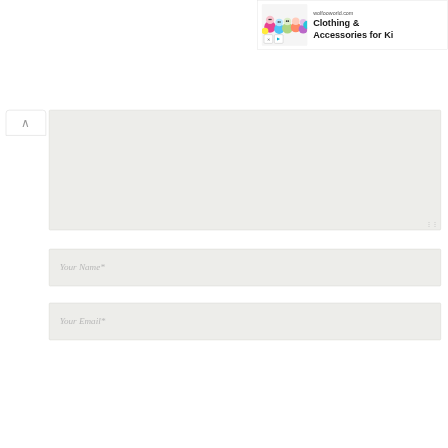[Figure (screenshot): Advertisement banner for wolfooworld.com showing colorful cartoon characters and text 'Clothing & Accessories for Ki...']
[Figure (screenshot): Web form UI showing a collapse button with caret-up icon, a large textarea input field with resize handle, a 'Your Name*' text input field, and a 'Your Email*' text input field]
Your Name*
Your Email*